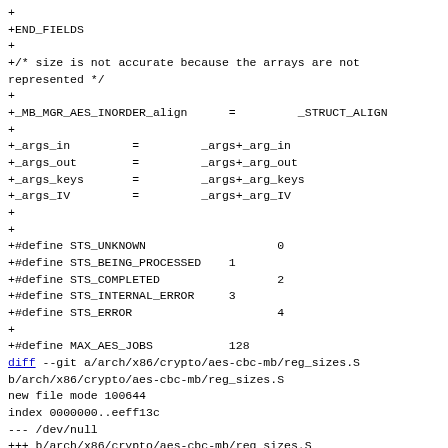+
+END_FIELDS
+
+/* size is not accurate because the arrays are not
represented */
+
+_MB_MGR_AES_INORDER_align      =         _STRUCT_ALIGN
+
+_args_in         =         _args+_arg_in
+_args_out        =         _args+_arg_out
+_args_keys       =         _args+_arg_keys
+_args_IV         =         _args+_arg_IV
+
+
+#define STS_UNKNOWN                   0
+#define STS_BEING_PROCESSED    1
+#define STS_COMPLETED                 2
+#define STS_INTERNAL_ERROR     3
+#define STS_ERROR                     4
+
+#define MAX_AES_JOBS           128
diff --git a/arch/x86/crypto/aes-cbc-mb/reg_sizes.S
b/arch/x86/crypto/aes-cbc-mb/reg_sizes.S
new file mode 100644
index 0000000..eeff13c
--- /dev/null
+++ b/arch/x86/crypto/aes-cbc-mb/reg_sizes.S
@@ -0,0 +1,126 @@
+/*
+ *      Header file AES CBC multibuffer SSE
+ * timing.h (v0.01)